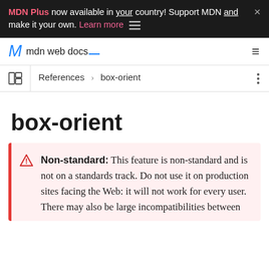MDN Plus now available in your country! Support MDN and make it your own. Learn more
[Figure (logo): MDN Web Docs logo with M slash and blue underline]
References › box-orient
box-orient
Non-standard: This feature is non-standard and is not on a standards track. Do not use it on production sites facing the Web: it will not work for every user. There may also be large incompatibilities between